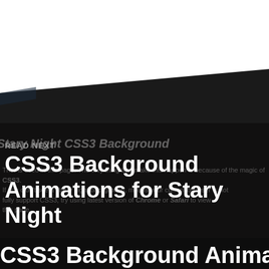[Figure (screenshot): Screenshot of a webpage showing a 'READ NEXT' section about CSS3 Background Animations for Stary Night. The page has a dark/black background with overlaid text. The top portion shows white space (truncated webpage above). An angled dark panel overlaps the transition area. Text visible includes 'READ NEXT' label, main title 'CSS3 Background Animations for Stary Night', background article text about CSS3, Chrome and Safari, and a partial bottom section title 'CSS3 Background Anima'.]
READ NEXT
CSS3 Background Animations for Stary Night
Stary Night CSS3 Background
There is used in this page. The only thing that make this happen is because of the magic of CSS3. If you didn't see a starry night background, means your current browser is not fully support CSS3, try using latest version of Chrome or Safari to view this page.
CSS3 Background Anima